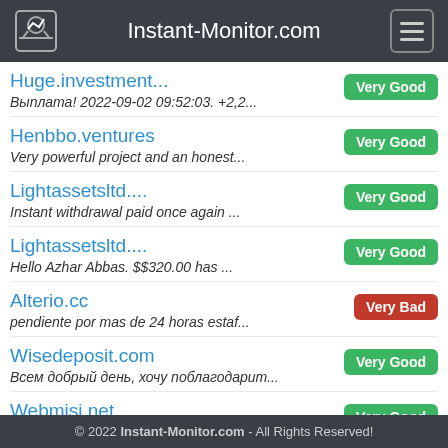Instant-Monitor.com
Huge.investment... | Very Good | Выплата! 2022-09-02 09:52:03. +2,2...
Henbbo.ventures | Very Good | Very powerful project and an honest...
Lightassetsltd.... | Very Good | Instant withdrawal paid once again ...
Lightassetsltd.... | Very Good | Hello Azhar Abbas. $$320.00 has ...
Alterio.cc | Very Bad | pendiente por mas de 24 horas estaf...
Wisedeposit.com | Very Good | Всем добрый день, хочу поблагодарит...
Webmisi.net | Very Good
© 2022 Instant-Monitor.com - All Rights Reserved!